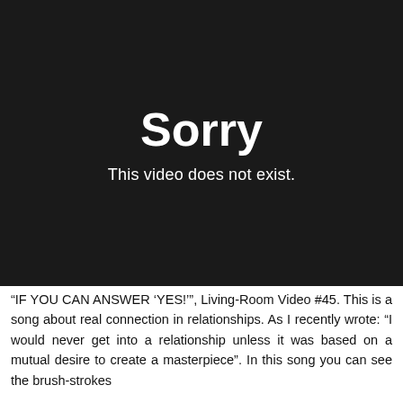[Figure (screenshot): Black video player placeholder showing 'Sorry' in large bold white text and 'This video does not exist.' in smaller white text below, on a dark background.]
“IF YOU CAN ANSWER ‘YES!’”, Living-Room Video #45. This is a song about real connection in relationships. As I recently wrote: “I would never get into a relationship unless it was based on a mutual desire to create a masterpiece”. In this song you can see the brush-strokes